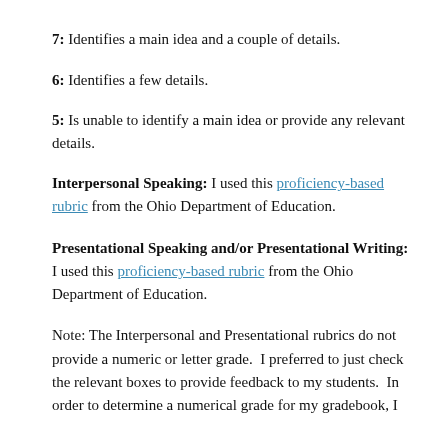7: Identifies a main idea and a couple of details.
6: Identifies a few details.
5: Is unable to identify a main idea or provide any relevant details.
Interpersonal Speaking: I used this proficiency-based rubric from the Ohio Department of Education.
Presentational Speaking and/or Presentational Writing: I used this proficiency-based rubric from the Ohio Department of Education.
Note: The Interpersonal and Presentational rubrics do not provide a numeric or letter grade. I preferred to just check the relevant boxes to provide feedback to my students. In order to determine a numerical grade for my gradebook, I